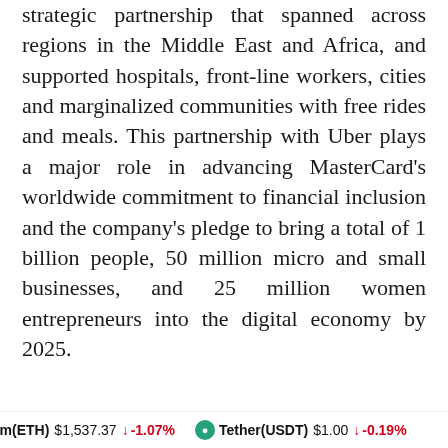strategic partnership that spanned across regions in the Middle East and Africa, and supported hospitals, front-line workers, cities and marginalized communities with free rides and meals. This partnership with Uber plays a major role in advancing MasterCard's worldwide commitment to financial inclusion and the company's pledge to bring a total of 1 billion people, 50 million micro and small businesses, and 25 million women entrepreneurs into the digital economy by 2025.
ereum(ETH) $1,537.37 ↓ -1.07%   Tether(USDT) $1.00 ↓ -0.19%